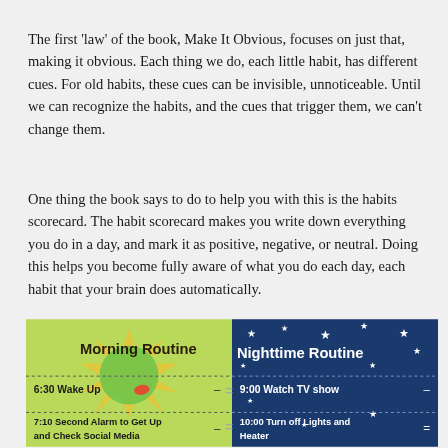The first 'law' of the book, Make It Obvious, focuses on just that, making it obvious. Each thing we do, each little habit, has different cues. For old habits, these cues can be invisible, unnoticeable. Until we can recognize the habits, and the cues that trigger them, we can't change them.
One thing the book says to do to help you with this is the habits scorecard. The habit scorecard makes you write down everything you do in a day, and mark it as positive, negative, or neutral. Doing this helps you become fully aware of what you do each day, each habit that your brain does automatically.
[Figure (infographic): Side-by-side infographic showing Morning Routine and Nighttime Routine. Morning Routine (left, green/yellow background with sun rays): 6:30 Wake Up (=), 7:10 Second Alarm to Get Up and Check Social Media (-). Nighttime Routine (right, dark blue background with stars): 9:00 Watch TV show (-), 10:00 Turn off Lights and Heater (=).]